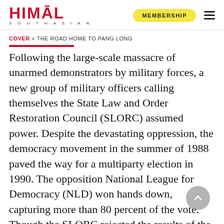HIMAL SOUTHASIAN | MEMBERSHIP
COVER > THE ROAD HOME TO PANG LONG
Following the large-scale massacre of unarmed demonstrators by military forces, a new group of military officers calling themselves the State Law and Order Restoration Council (SLORC) assumed power. Despite the devastating oppression, the democracy movement in the summer of 1988 paved the way for a multiparty election in 1990. The opposition National League for Democracy (NLD) won hands down, capturing more than 80 percent of the vote. Though the SLORC rejected the results of the elections, the stage was set for